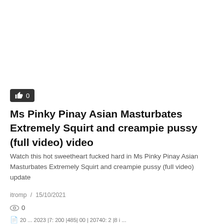[Figure (other): Like/thumbs-up button with count 0 on dark rounded rectangle background]
Ms Pinky Pinay Asian Masturbates Extremely Squirt and creampie pussy (full video) video
Watch this hot sweetheart fucked hard in Ms Pinky Pinay Asian Masturbates Extremely Squirt and creampie pussy (full video) update
itromp / 15/10/2021
0
20 ... 2023 |7: 200 |485| 00 | 20740: 2 |8 i ...